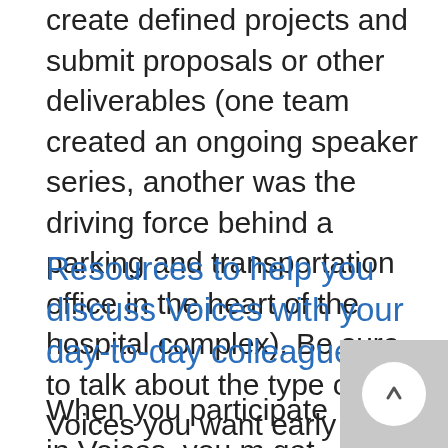create defined projects and submit proposals or other deliverables (one team created an ongoing speaker series, another was the driving force behind a parking and transportation office in the heart of the hospital complex). Be sure to talk about the type of Voices you want early and often with your team.
Resources to help you discuss Voices with your day-to-day colleagues
When you participate in Voices, you m… get questions from your co-workers and